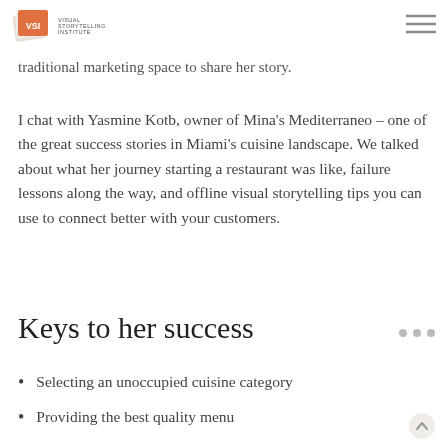VSI Visual Storytelling Institute
invite a small business owner outside the traditional marketing space to share her story.
I chat with Yasmine Kotb, owner of Mina's Mediterraneo – one of the great success stories in Miami's cuisine landscape. We talked about what her journey starting a restaurant was like, failure lessons along the way, and offline visual storytelling tips you can use to connect better with your customers.
Keys to her success
Selecting an unoccupied cuisine category
Providing the best quality menu